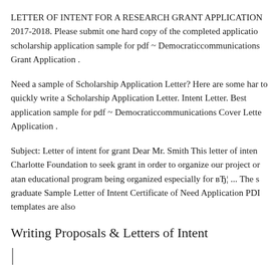LETTER OF INTENT FOR A RESEARCH GRANT APPLICATION 2017-2018. Please submit one hard copy of the completed application scholarship application sample for pdf ~ Democraticcommunications Grant Application .
Need a sample of Scholarship Application Letter? Here are some har to quickly write a Scholarship Application Letter. Intent Letter. Best application sample for pdf ~ Democraticcommunications Cover Lette Application .
Subject: Letter of intent for grant Dear Mr. Smith This letter of inten Charlotte Foundation to seek grant in order to organize our project or atan educational program being organized especially for вЂ¦ ... The s graduate Sample Letter of Intent Certificate of Need Application PDI templates are also
Writing Proposals & Letters of Intent